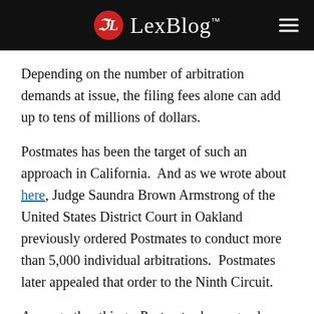LexBlog™
Depending on the number of arbitration demands at issue, the filing fees alone can add up to tens of millions of dollars.
Postmates has been the target of such an approach in California.  And as we wrote about here, Judge Saundra Brown Armstrong of the United States District Court in Oakland previously ordered Postmates to conduct more than 5,000 individual arbitrations.  Postmates later appealed that order to the Ninth Circuit.
Among other things, Postmates has argued